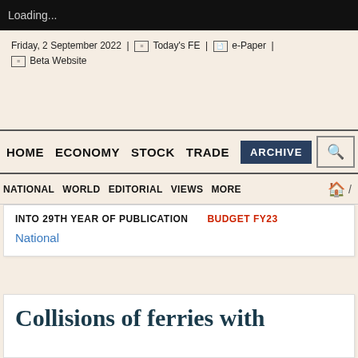Loading...
Friday, 2 September 2022 | Today's FE | e-Paper | Beta Website
HOME  ECONOMY  STOCK  TRADE  ARCHIVE
NATIONAL  WORLD  EDITORIAL  VIEWS  MORE
INTO 29TH YEAR OF PUBLICATION  BUDGET FY23
National
Collisions of ferries with